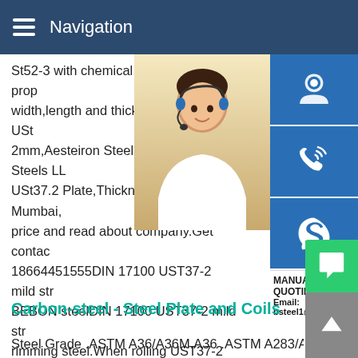Navigation
St52-3 with chemical and mechanical properties,width,length and thickness.DIN 17100 USt37.2mm,Aesteiron Steels Aesteiron Steels LLP USt37.2 Plate,Thickness 2mm in Mumbai, price and read about company.Get contact 18664451555DIN 17100 UST37-2 mild steel BEBON steelDIN 17100 UST37-2 mild steel rimming steel.When rolling UST37-2 steel exceed the maximum value indicated,provided content per 0.001% N of 0.005% P below indicated is maintained.The nitrogen content may not,however,exceed a value of 0.0012% N in the ladle analysis and 0.0014% N in the sample analysis.
[Figure (photo): Customer service representative woman with headset, alongside blue sidebar buttons for support, phone/call, and Skype, with contact text showing MANUAL SE... QUOTING O... and Email: bsteel1@163.com]
Carbon-steel - Steel Plate and Coils Factory
Steel Grade .ASTM A36/A36M.A36 .ASTM A283/A283M .A28